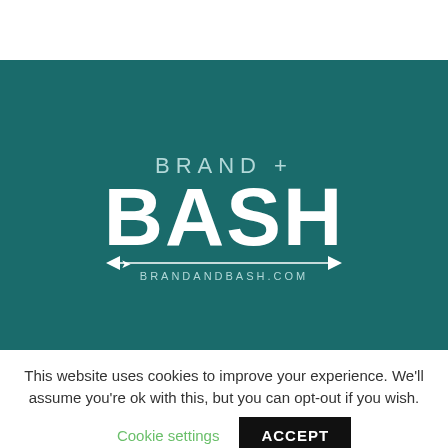[Figure (logo): Brand + Bash logo on teal/dark cyan background. Large bold white text 'BASH' with smaller text 'BRAND +' above it, and an arrow graphic with 'BRANDANDBASH.COM' text below.]
This website uses cookies to improve your experience. We'll assume you're ok with this, but you can opt-out if you wish.
Cookie settings
ACCEPT